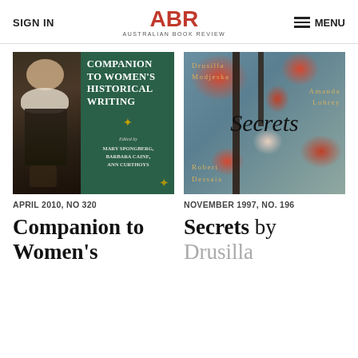SIGN IN | ABR Australian Book Review | MENU
[Figure (photo): Book cover: Companion to Women's Historical Writing, edited by Mary Spongberg, Barbara Caine, Ann Curthoys. Green cover with portrait painting on left side.]
[Figure (photo): Book cover: Secrets by Drusilla Modjeska, Amanda Lohrey, Robert Dessaix. Teal/blue abstract cover with red oval shapes and dark vertical bars.]
APRIL 2010, NO 320
NOVEMBER 1997, NO. 196
Companion to Women's
Secrets by Drusilla